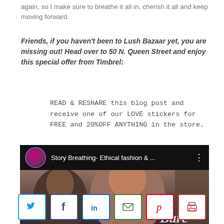again, so I make sure to breathe it all in, cherish it all and keep moving forward.
Friends, if you haven't been to Lush Bazaar yet, you are missing out! Head over to 50 N. Queen Street and enjoy this special offer from Timbrel:
READ & RESHARE this blog post and receive one of our LOVE stickers for FREE and 20%OFF ANYTHING in the store.
[Figure (screenshot): YouTube-style video thumbnail showing 'Story Breathing- Ethical fashion & ...' with a woman's profile picture avatar and a photo of two women smiling, with 'Bare' watermark text.]
[Figure (infographic): Social share buttons row: Twitter (blue), Facebook (blue), LinkedIn (blue), Email (green), Pinterest (red), Print (red)]